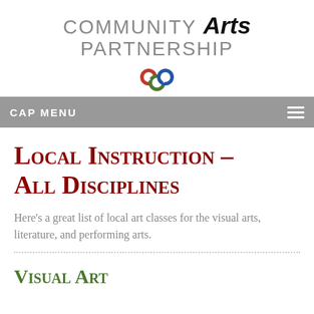[Figure (logo): Community Arts Partnership logo with stylized 'cap' icon in red, blue, and green circles]
CAP MENU
Local Instruction – All Disciplines
Here's a great list of local art classes for the visual arts, literature, and performing arts.
Visual Art